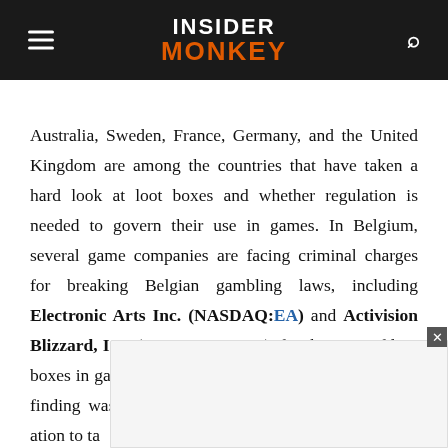INSIDER MONKEY
Australia, Sweden, France, Germany, and the United Kingdom are among the countries that have taken a hard look at loot boxes and whether regulation is needed to govern their use in games. In Belgium, several game companies are facing criminal charges for breaking Belgian gambling laws, including Electronic Arts Inc. (NASDAQ:EA) and Activision Blizzard, Inc. (NASDAQ:ATVI), for their use of loot boxes in games like FIFA 18 and Overwatch. A similar finding was also recently handed down in the Netherlands... ation to ta...